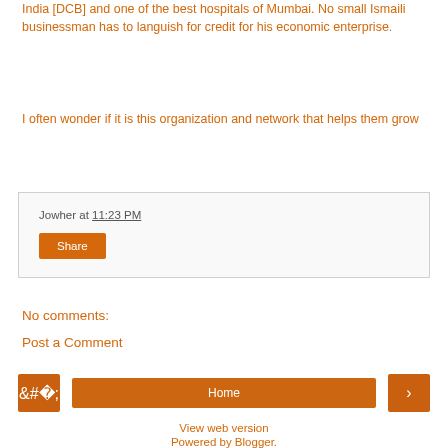India [DCB] and one of the best hospitals of Mumbai. No small Ismaili businessman has to languish for credit for his economic enterprise.
I often wonder if it is this organization and network that helps them grow
Jowher at 11:23 PM
Share
No comments:
Post a Comment
‹
Home
›
View web version
Powered by Blogger.